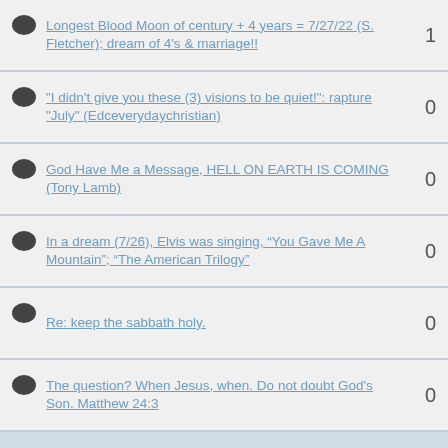Longest Blood Moon of century + 4 years = 7/27/22 (S. Fletcher); dream of 4's & marriage!!
"I didn't give you these (3) visions to be quiet!": rapture "July" (Edceverydaychristian)
God Have Me a Message, HELL ON EARTH IS COMING (Tony Lamb)
In a dream (7/26), Elvis was singing, “You Gave Me A Mountain”; “The American Trilogy”
Re: keep the sabbath holy.
The question? When Jesus, when. Do not doubt God's Son. Matthew 24:3